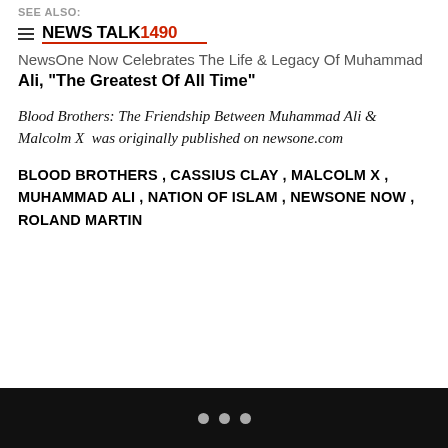SEE ALSO:
[Figure (logo): NewsTalk 1490 logo with hamburger menu icon and red underline]
NewsOne Now Celebrates The Life & Legacy Of Muhammad Ali, "The Greatest Of All Time"
Blood Brothers: The Friendship Between Muhammad Ali & Malcolm X  was originally published on newsone.com
BLOOD BROTHERS , CASSIUS CLAY , MALCOLM X , MUHAMMAD ALI , NATION OF ISLAM , NEWSONE NOW , ROLAND MARTIN
• • •